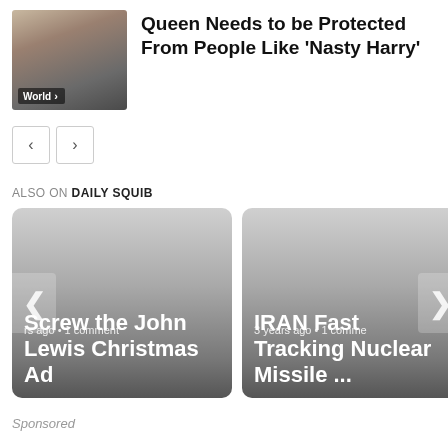[Figure (photo): Thumbnail photo of the Queen in a carriage with people in ceremonial dress, with a 'World' tag overlay]
Queen Needs to be Protected From People Like ‘Nasty Harry’
Navigation buttons: left arrow, right arrow
ALSO ON DAILY SQUIB
[Figure (photo): Article card: '...rs ago • 1 comment' / 'Screw the John Lewis Christmas Ad' with left navigation arrow]
[Figure (photo): Article card: '3 years ago • 1 comme...' / 'IRAN Fast Tracking Nuclear Missile ...' with right navigation arrow]
Sponsored